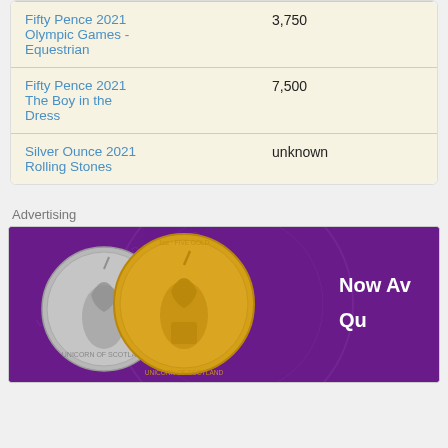| Name | Mintage |
| --- | --- |
| Fifty Pence 2021 Olympic Games - Equestrian | 3,750 |
| Fifty Pence 2021 The Boy in the Dress | 7,500 |
| Silver Ounce 2021 Rolling Stones | unknown |
Advertising
[Figure (photo): Advertisement banner showing gold and silver Queen's Beast Unicorn of Scotland coins on a purple background with text 'Now Av[ailable] Qu[een's Beast]']